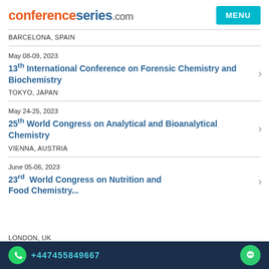conferenceseries.com
BARCELONA, SPAIN
May 08-09, 2023
13th International Conference on Forensic Chemistry and Biochemistry
TOKYO, JAPAN
May 24-25, 2023
25th World Congress on Analytical and Bioanalytical Chemistry
VIENNA, AUSTRIA
June 05-06, 2023
23rd World Congress on Nutrition and Food Chemistry
LONDON, UK
+447455849667